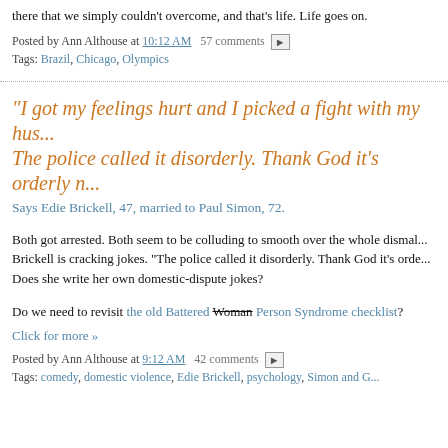there that we simply couldn't overcome, and that's life. Life goes on.
Posted by Ann Althouse at 10:12 AM  57 comments
Tags: Brazil, Chicago, Olympics
"I got my feelings hurt and I picked a fight with my hus... The police called it disorderly. Thank God it's orderly n...
Says Edie Brickell, 47, married to Paul Simon, 72.
Both got arrested. Both seem to be colluding to smooth over the whole dismal... Brickell is cracking jokes. "The police called it disorderly. Thank God it's orde... Does she write her own domestic-dispute jokes?
Do we need to revisit the old Battered Woman Person Syndrome checklist?
Click for more »
Posted by Ann Althouse at 9:12 AM  42 comments
Tags: comedy, domestic violence, Edie Brickell, psychology, Simon and G...